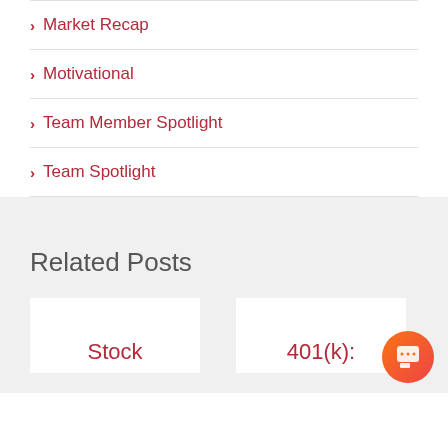> Market Recap
> Motivational
> Team Member Spotlight
> Team Spotlight
Related Posts
Stock
401(k):